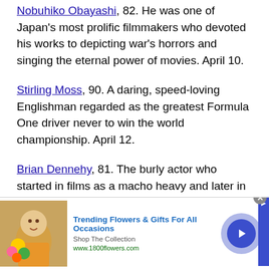Nobuhiko Obayashi, 82. He was one of Japan's most prolific filmmakers who devoted his works to depicting war's horrors and singing the eternal power of movies. April 10.
Stirling Moss, 90. A daring, speed-loving Englishman regarded as the greatest Formula One driver never to win the world championship. April 12.
Brian Dennehy, 81. The burly actor who started in films as a macho heavy and later in his career won plaudits for his stage work in plays by William Shakespeare, Anton Chekhov, Eugene O'Neill and Arthur Miller. April
[Figure (other): Advertisement banner for 1800flowers.com: 'Trending Flowers & Gifts For All Occasions', Shop The Collection, www.1800flowers.com, with a photo of a woman holding flowers and a blue arrow button.]